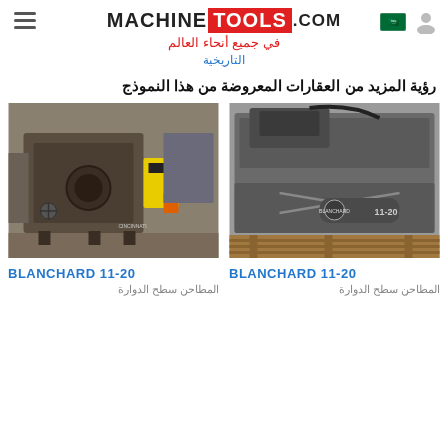MACHINE TOOLS .com
في جميع أنحاء العالم
التاريخية
رؤية المزيد من العقارات المعروضة من هذا النموذج
[Figure (photo): Industrial Blanchard surface grinder machine in a workshop setting with yellow safety equipment visible]
BLANCHARD 11-20
المطاحن سطح الدوارة
[Figure (photo): Close-up of a Blanchard 11-20 rotary surface grinder machine, grey metal body with label visible]
BLANCHARD 11-20
المطاحن سطح الدوارة